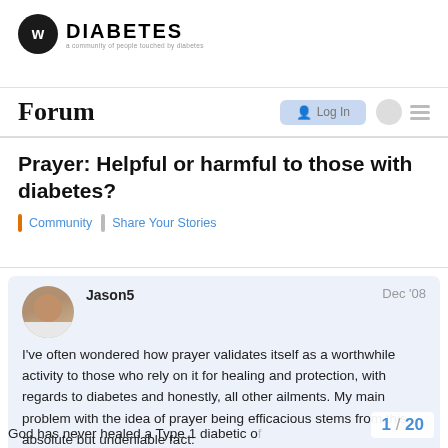[Figure (logo): Diabetes forum logo: black circle with 'w' icon, DIABETES text in bold, tagline 'a community of people touched by diabetes']
Forum
Prayer: Helpful or harmful to those with diabetes?
Community | Share Your Stories
Jason5   Dec '08
I've often wondered how prayer validates itself as a worthwhile activity to those who rely on it for healing and protection, with regards to diabetes and honestly, all other ailments. My main problem with the idea of prayer being efficacious stems from this absolute but undeniable fact:
God has never healed a Type 1 diabetic of
1 / 20